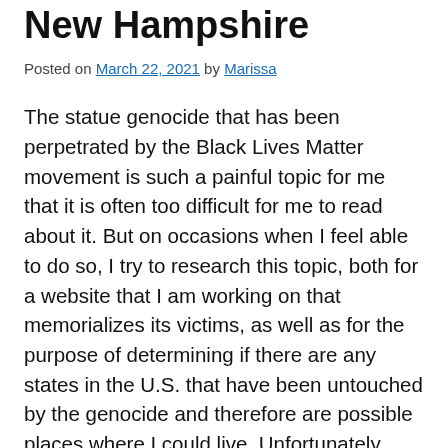New Hampshire
Posted on March 22, 2021 by Marissa
The statue genocide that has been perpetrated by the Black Lives Matter movement is such a painful topic for me that it is often too difficult for me to read about it. But on occasions when I feel able to do so, I try to research this topic, both for a website that I am working on that memorializes its victims, as well as for the purpose of determining if there are any states in the U.S. that have been untouched by the genocide and therefore are possible places where I could live. Unfortunately, there do not seem to be any. When researching the possibility of moving to New Hampshire, I came across an article from the New